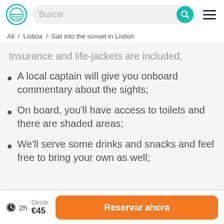Buscar | menu
All / Lisboa / Sail into the sunset in Lisbon
Insurance and life-jackets are included;
A local captain will give you onboard commentary about the sights;
On board, you'll have access to toilets and there are shaded areas;
We'll serve some drinks and snacks and feel free to bring your own as well;
2h | Desde €45 | Reservar ahora